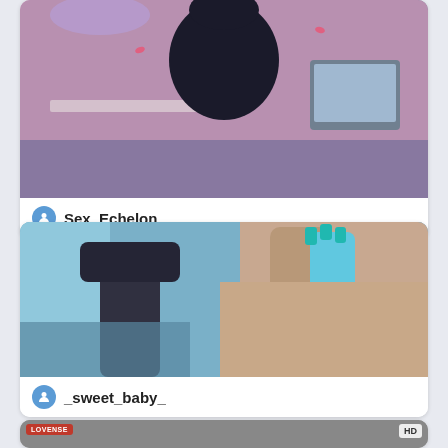[Figure (photo): Partially visible webcam stream card showing a dark silhouette figure in a room with pink/purple lighting, flowers visible. Username label 'Sex_Echelon' shown at bottom of card.]
Sex_Echelon
[Figure (photo): Webcam stream card showing a person with dark hair holding a blue phone with teal-painted nails, blue-tinted room background. Username label '_sweet_baby_' shown at bottom of card.]
_sweet_baby_
[Figure (photo): Partially visible third webcam stream card at bottom of page. LOVENSE badge visible at left, HD badge at right.]